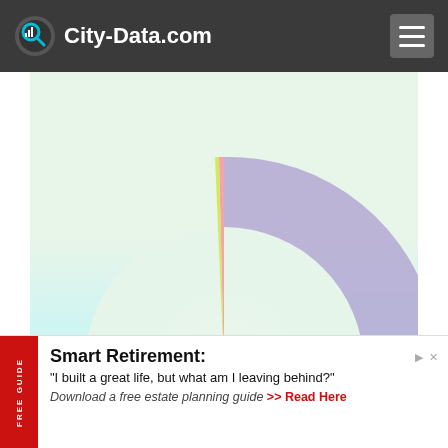City-Data.com
[Figure (donut-chart): Commute means of transportation]
Car alone (66.7%), Carpooled (12.6%), Walked (8.4%), Bus (5.6%), Bicycle (0.5%), Other (0.7%), Motorcycle (1.1%), Worked at home (3.8%)
Smart Retirement: "I built a great life, but what am I leaving behind?" Download a free estate planning guide >> Read Here